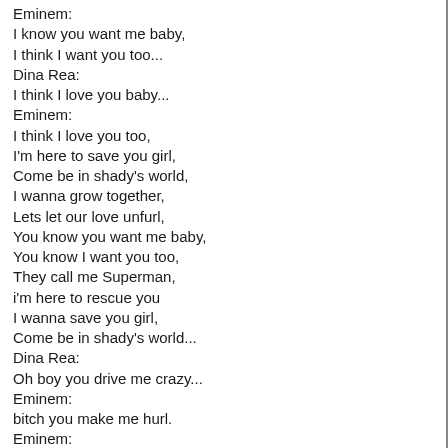Eminem:
I know you want me baby,
I think I want you too...
Dina Rea:
I think I love you baby...
Eminem:
I think I love you too,
I'm here to save you girl,
Come be in shady's world,
I wanna grow together,
Lets let our love unfurl,
You know you want me baby,
You know I want you too,
They call me Superman,
i'm here to rescue you
I wanna save you girl,
Come be in shady's world...
Dina Rea:
Oh boy you drive me crazy...
Eminem:
bitch you make me hurl.
Eminem:
First thing you said...